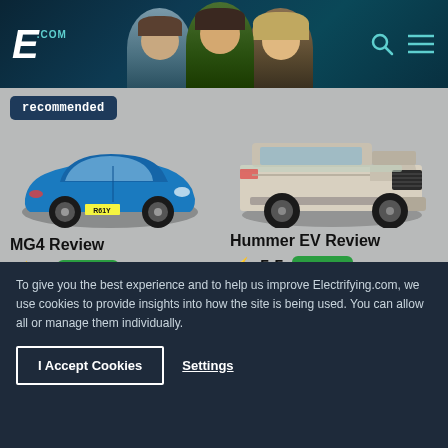[Figure (screenshot): Electrifying.com website header with logo, three presenter faces, search and menu icons on dark teal/navy background]
[Figure (photo): Blue MG4 electric car with 'recommended' badge overlay]
MG4 Review
⚡ 9   Electric   From: £25,995
[Figure (photo): White/silver Hummer EV pickup truck]
Hummer EV Review
⚡ 5.5   Electric   From: £130,000
To give you the best experience and to help us improve Electrifying.com, we use cookies to provide insights into how the site is being used. You can allow all or manage them individually.
I Accept Cookies
Settings